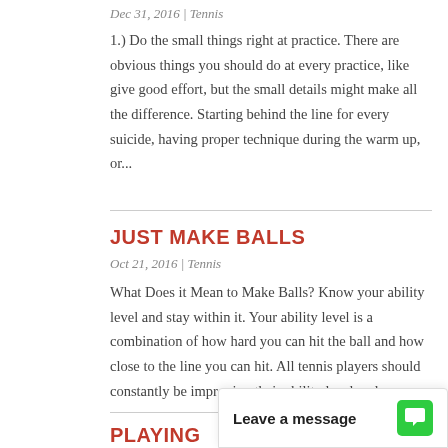Dec 31, 2016 | Tennis
1.) Do the small things right at practice. There are obvious things you should do at every practice, like give good effort, but the small details might make all the difference. Starting behind the line for every suicide, having proper technique during the warm up, or...
JUST MAKE BALLS
Oct 21, 2016 | Tennis
What Does it Mean to Make Balls? Know your ability level and stay within it. Your ability level is a combination of how hard you can hit the ball and how close to the line you can hit. All tennis players should constantly be improving their ability level and...
PLAYING WITH A...